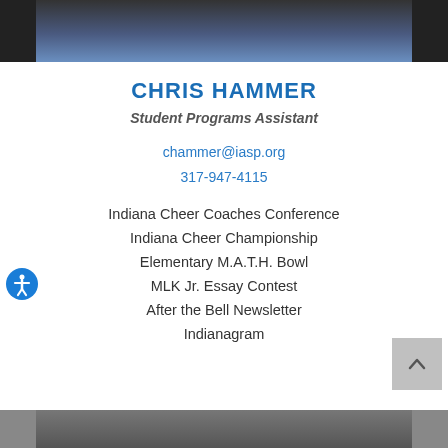[Figure (photo): Top portion of a person's photo showing upper body in a dark suit with blue shirt and tie]
CHRIS HAMMER
Student Programs Assistant
chammer@iasp.org
317-947-4115
Indiana Cheer Coaches Conference
Indiana Cheer Championship
Elementary M.A.T.H. Bowl
MLK Jr. Essay Contest
After the Bell Newsletter
Indianagram
[Figure (photo): Bottom portion of another person's photo, partially visible at bottom of page]